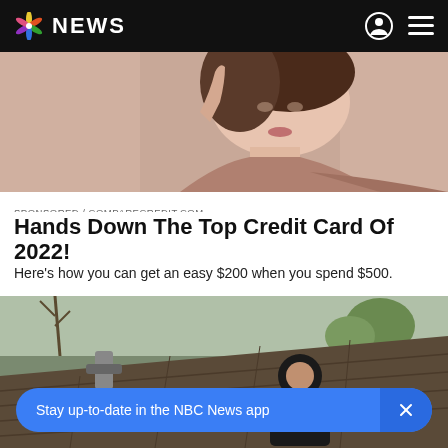NBC NEWS
[Figure (photo): Close-up photo of a young woman with brown hair, smiling, wearing a mauve/pink off-shoulder knit sweater, against a light pinkish background]
SPONSORED / COMPARECREDIT.COM
Hands Down The Top Credit Card Of 2022!
Here's how you can get an easy $200 when you spend $500.
[Figure (photo): Photo of a worker in black hoodie and yellow gloves working on a roof with shingles, with bare and leafy trees visible in the background]
Stay up-to-date in the NBC News app